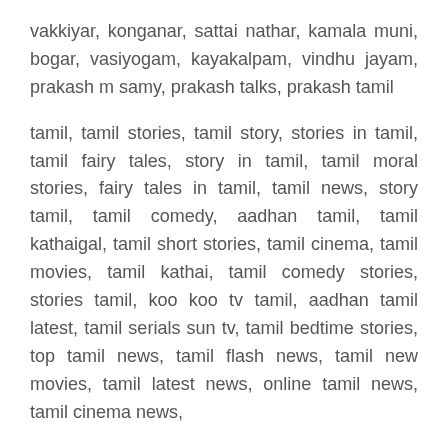vakkiyar, konganar, sattai nathar, kamala muni, bogar, vasiyogam, kayakalpam, vindhu jayam, prakash m samy, prakash talks, prakash tamil
tamil, tamil stories, tamil story, stories in tamil, tamil fairy tales, story in tamil, tamil moral stories, fairy tales in tamil, tamil news, story tamil, tamil comedy, aadhan tamil, tamil kathaigal, tamil short stories, tamil cinema, tamil movies, tamil kathai, tamil comedy stories, stories tamil, koo koo tv tamil, aadhan tamil latest, tamil serials sun tv, tamil bedtime stories, top tamil news, tamil flash news, tamil new movies, tamil latest news, online tamil news, tamil cinema news,
today trending troll in tamil, today trending videos in tamil, tamil trending, today trending, today trending troll, today trending vidoes, today trending troll vidoes, today trending memes, #tamil, today trending troll latest, todays trending, tamil trending video, tamil